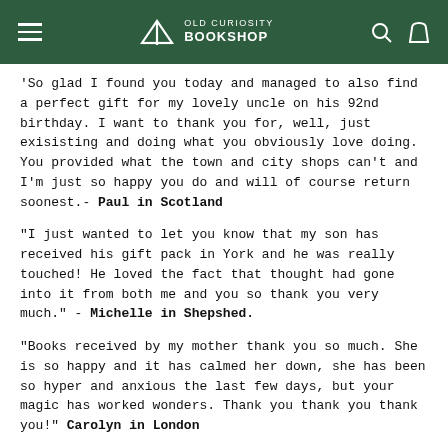OLD CURIOSITY BOOKSHOP
'So glad I found you today and managed to also find a perfect gift for my lovely uncle on his 92nd birthday. I want to thank you for, well, just exisisting and doing what you obviously love doing. You provided what the town and city shops can't and I'm just so happy you do and will of course return soonest.- Paul in Scotland
"I just wanted to let you know that my son has received his gift pack in York and he was really touched! He loved the fact that thought had gone into it from both me and you so thank you very much." - Michelle in Shepshed.
"Books received by my mother thank you so much. She is so happy and it has calmed her down, she has been so hyper and anxious the last few days, but your magic has worked wonders. Thank you thank you thank you!" Carolyn in London